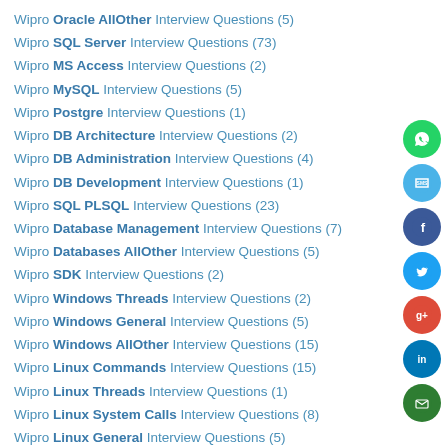Wipro Oracle AllOther Interview Questions (5)
Wipro SQL Server Interview Questions (73)
Wipro MS Access Interview Questions (2)
Wipro MySQL Interview Questions (5)
Wipro Postgre Interview Questions (1)
Wipro DB Architecture Interview Questions (2)
Wipro DB Administration Interview Questions (4)
Wipro DB Development Interview Questions (1)
Wipro SQL PLSQL Interview Questions (23)
Wipro Database Management Interview Questions (7)
Wipro Databases AllOther Interview Questions (5)
Wipro SDK Interview Questions (2)
Wipro Windows Threads Interview Questions (2)
Wipro Windows General Interview Questions (5)
Wipro Windows AllOther Interview Questions (15)
Wipro Linux Commands Interview Questions (15)
Wipro Linux Threads Interview Questions (1)
Wipro Linux System Calls Interview Questions (8)
Wipro Linux General Interview Questions (5)